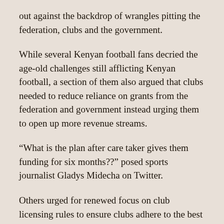out against the backdrop of wrangles pitting the federation, clubs and the government.
While several Kenyan football fans decried the age-old challenges still afflicting Kenyan football, a section of them also argued that clubs needed to reduce reliance on grants from the federation and government instead urging them to open up more revenue streams.
“What is the plan after care taker gives them funding for six months??” posed sports journalist Gladys Midecha on Twitter.
Others urged for renewed focus on club licensing rules to ensure clubs adhere to the best practices and can sustain their players and staff.
READ>>StarTimes Switches Off FKF-Premier